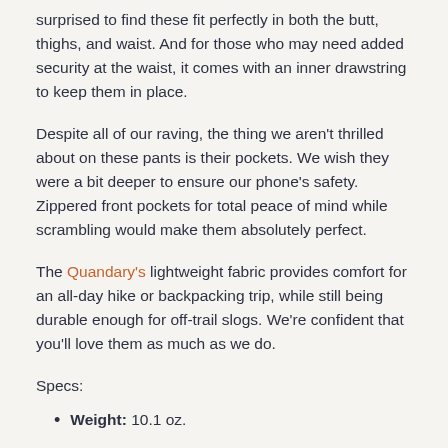surprised to find these fit perfectly in both the butt, thighs, and waist. And for those who may need added security at the waist, it comes with an inner drawstring to keep them in place.
Despite all of our raving, the thing we aren't thrilled about on these pants is their pockets. We wish they were a bit deeper to ensure our phone's safety. Zippered front pockets for total peace of mind while scrambling would make them absolutely perfect.
The Quandary's lightweight fabric provides comfort for an all-day hike or backpacking trip, while still being durable enough for off-trail slogs. We're confident that you'll love them as much as we do.
Specs:
Weight: 10.1 oz.
Fabric: 96% nylon, 4% spandex